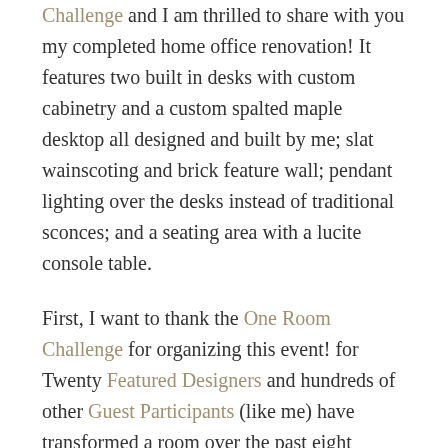Challenge and I am thrilled to share with you my completed home office renovation! It features two built in desks with custom cabinetry and a custom spalted maple desktop all designed and built by me; slat wainscoting and brick feature wall; pendant lighting over the desks instead of traditional sconces; and a seating area with a lucite console table.
First, I want to thank the One Room Challenge for organizing this event! for Twenty Featured Designers and hundreds of other Guest Participants (like me) have transformed a room over the past eight weeks.  Also, special thanks to Better Homes and Gardens, the media sponsor.